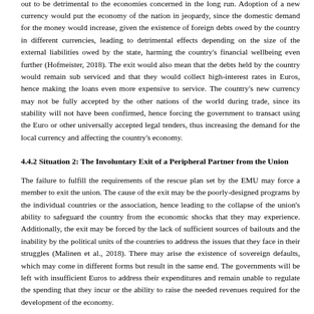The process of leaving the single currency union and adopting the use of another currency is not easy, and it would involve complex and rigorous processes that may turn out to be detrimental to the economies concerned in the long run. Adoption of a new currency would put the economy of the nation in jeopardy, since the domestic demand for the money would increase, given the existence of foreign debts owed by the country in different currencies, leading to detrimental effects depending on the size of the external liabilities owed by the state, harming the country's financial wellbeing even further (Hofmeister, 2018). The exit would also mean that the debts held by the country would remain sub serviced and that they would collect high-interest rates in Euros, hence making the loans even more expensive to service. The country's new currency may not be fully accepted by the other nations of the world during trade, since its stability will not have been confirmed, hence forcing the government to transact using the Euro or other universally accepted legal tenders, thus increasing the demand for the local currency and affecting the country's economy.
4.4.2 Situation 2: The Involuntary Exit of a Peripheral Partner from the Union
The failure to fulfill the requirements of the rescue plan set by the EMU may force a member to exit the union. The cause of the exit may be the poorly-designed programs by the individual countries or the association, hence leading to the collapse of the union's ability to safeguard the country from the economic shocks that they may experience. Additionally, the exit may be forced by the lack of sufficient sources of bailouts and the inability by the political units of the countries to address the issues that they face in their struggles (Malinen et al., 2018). There may arise the existence of sovereign defaults, which may come in different forms but result in the same end. The governments will be left with insufficient Euros to address their expenditures and remain unable to regulate the spending that they incur or the ability to raise the needed revenues required for the development of the economy.
In this scenario, the governments may opt to postpone the payment of the debts that they owe. However, this solution is only applicable in the short term, leaving the nations with tough decisions to make on how to handle the situations in the long run. The debts owed would accumulate excessively, especially considering that these payments will be made in Euros (Aslett & Cap..., 2016). The inability to sort out their debts as well as the inability to access more credit will affect